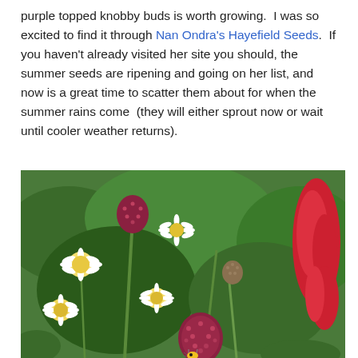purple topped knobby buds is worth growing.  I was so excited to find it through Nan Ondra's Hayefield Seeds.  If you haven't already visited her site you should, the summer seeds are ripening and going on her list, and now is a great time to scatter them about for when the summer rains come  (they will either sprout now or wait until cooler weather returns).
[Figure (photo): Garden photo showing purple-topped knobby flower buds (scabiosa or similar) with white daisy-like flowers and red flowers in the background, surrounded by green foliage]